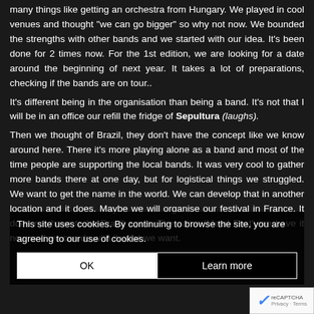many things like getting an orchestra from Hungary. We played in cool venues and thought "we can go bigger" so why not now. We bounded the strengths with other bands and we started with our idea. It's been done for 2 times now. For the 1st edition, we are looking for a date around the beginning of next year. It takes a lot of preparations, checking if the bands are on tour..
It's different being in the organisation than being a band. It's not that I will be in an office our refill the fridge of Sepultura (laughs).
Then we thought of Brazil, they don't have the concept like we know around here. There it's more playing alone as a band and most of the time people are supporting the local bands. It was very cool to gather more bands there at one day, but for logistical things we struggled. We want to get the name in the world. We can develop that in another location and it does. Maybe we will organise our festival in France. It does not have to be Brazil again. The name 'Metal Fest', we have it now and we can do with it what we want.
This site uses cookies. By continuing to browse the site, you are agreeing to our use of cookies.